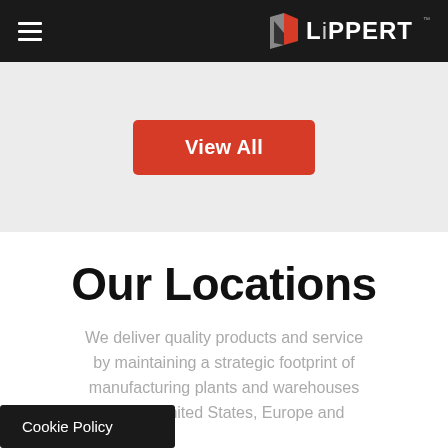Lippert — Navigation bar with hamburger menu and Lippert logo
[Figure (logo): Lippert logo: stylized L shield in red/grey with 'LiPPERT' text in white]
View All
Our Locations
We deliver quality products and service by maintaining a strategic footprint of manufacturing plants and warehouses United States, Europe and
Cookie Policy